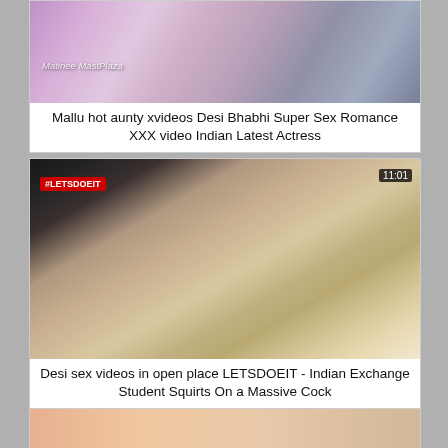[Figure (screenshot): Video thumbnail showing two people in a room, with watermark text 'Matinee Mast Plaza']
Mallu hot aunty xvideos Desi Bhabhi Super Sex Romance XXX video Indian Latest Actress
[Figure (screenshot): Video thumbnail from #LETSDOEIT channel showing two people in a modern apartment, duration 11:01]
Desi sex videos in open place LETSDOEIT - Indian Exchange Student Squirts On a Massive Cock
[Figure (screenshot): Partial video thumbnail at bottom of page]